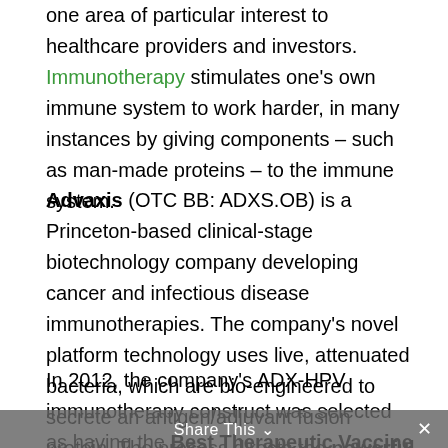one area of particular interest to healthcare providers and investors. Immunotherapy stimulates one's own immune system to work harder, in many instances by giving components – such as man-made proteins – to the immune system.
Advaxis (OTC BB: ADXS.OB) is a Princeton-based clinical-stage biotechnology company developing cancer and infectious disease immunotherapies. The company's novel platform technology uses live, attenuated bacteria, which are bio-engineered to secrete an antigen/adjuvant fusion protein. The process directs the powerful immune response to the bacterium to the cancer instead.
In 2012, the company's ADX-HPV immunotherapy construct was selected as having the Best Therapeutic Vaccine (approved or in development) at the 5th Annual Vaccine